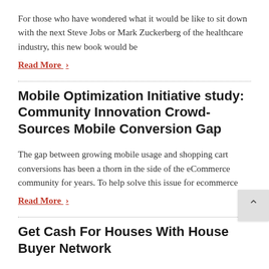For those who have wondered what it would be like to sit down with the next Steve Jobs or Mark Zuckerberg of the healthcare industry, this new book would be
Read More ›
Mobile Optimization Initiative study: Community Innovation Crowd-Sources Mobile Conversion Gap
The gap between growing mobile usage and shopping cart conversions has been a thorn in the side of the eCommerce community for years. To help solve this issue for ecommerce
Read More ›
Get Cash For Houses With House Buyer Network
House Buyer Network™ is recognized as North America's